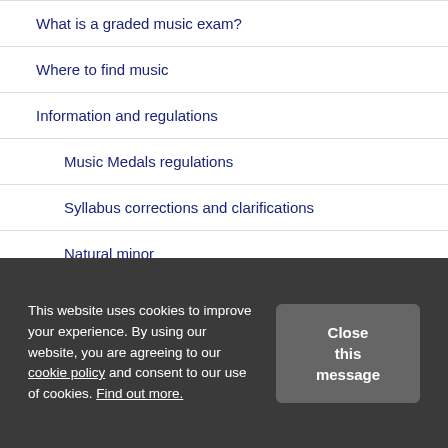What is a graded music exam?
Where to find music
Information and regulations
Music Medals regulations
Syllabus corrections and clarifications
Natural minor
Syllabus updates
This website uses cookies to improve your experience. By using our website, you are agreeing to our cookie policy and consent to our use of cookies. Find out more.
Close this message